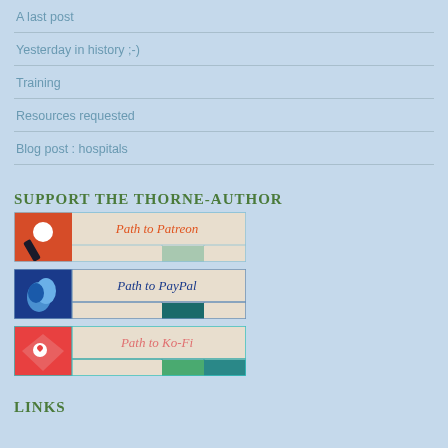A last post
Yesterday in history ;-)
Training
Resources requested
Blog post : hospitals
SUPPORT THE THORNE-AUTHOR
[Figure (illustration): Path to Patreon banner with Patreon logo icon on left and text 'Path to Patreon' on right]
[Figure (illustration): Path to PayPal banner with PayPal logo icon on left and text 'Path to PayPal' on right]
[Figure (illustration): Path to Ko-Fi banner with Ko-Fi logo icon on left and text 'Path to Ko-Fi' on right]
LINKS